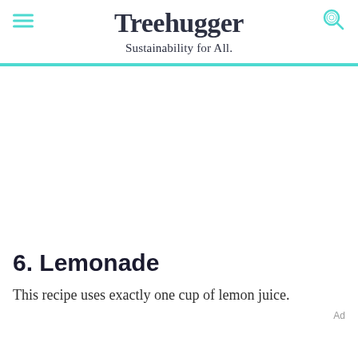Treehugger — Sustainability for All.
6. Lemonade
This recipe uses exactly one cup of lemon juice.